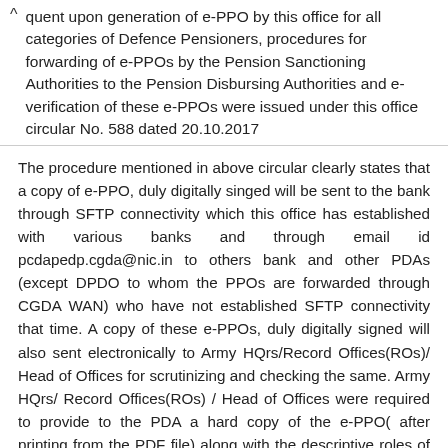quent upon generation of e-PPO by this office for all categories of Defence Pensioners, procedures for forwarding of e-PPOs by the Pension Sanctioning Authorities to the Pension Disbursing Authorities and e-verification of these e-PPOs were issued under this office circular No. 588 dated 20.10.2017
The procedure mentioned in above circular clearly states that a copy of e-PPO, duly digitally singed will be sent to the bank through SFTP connectivity which this office has established with various banks and through email id pcdapedp.cgda@nic.in to others bank and other PDAs (except DPDO to whom the PPOs are forwarded through CGDA WAN) who have not established SFTP connectivity that time. A copy of these e-PPOs, duly digitally signed will also sent electronically to Army HQrs/Record Offices(ROs)/ Head of Offices for scrutinizing and checking the same. Army HQrs/ Record Offices(ROs) / Head of Offices were required to provide to the PDA a hard copy of the e-PPO( after printing from the PDF file) along with the descriptive roles of the Descriptive Particulars of the pensioners.
PDAs were advised to affect the payment based on e-PPO